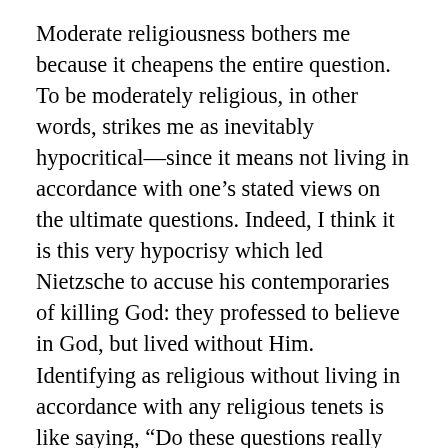Moderate religiousness bothers me because it cheapens the entire question. To be moderately religious, in other words, strikes me as inevitably hypocritical—since it means not living in accordance with one's stated views on the ultimate questions. Indeed, I think it is this very hypocrisy which led Nietzsche to accuse his contemporaries of killing God: they professed to believe in God, but lived without Him. Identifying as religious without living in accordance with any religious tenets is like saying, “Do these questions really matter?”
And to many people, perhaps these ultimate questions of Fate, God, and the origin of the universe really do not occupy much